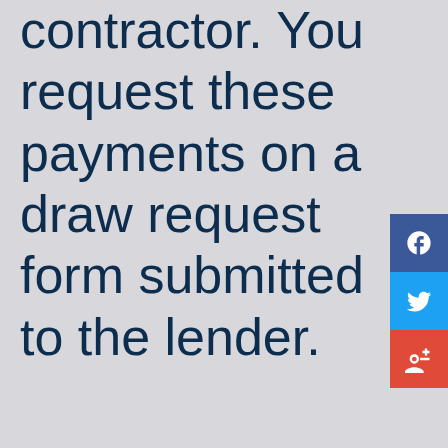contractor. You request these payments on a draw request form submitted to the lender.
[Figure (other): Social media share buttons: Facebook (blue), Twitter (light blue), Google Plus (red)]